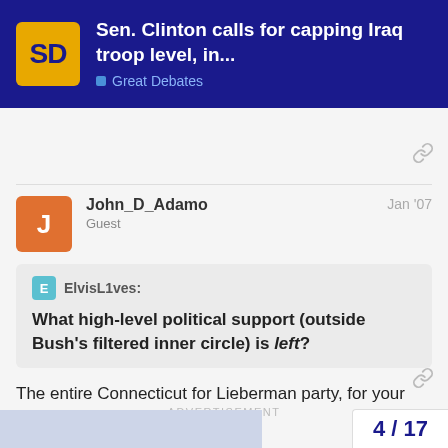Sen. Clinton calls for capping Iraq troop level, in... | Great Debates
John_D_Adamo — Jan '07 — Guest
ElvisL1ves: What high-level political support (outside Bush's filtered inner circle) is left?
The entire Connecticut for Lieberman party, for your information. 😀
ADVERTISEMENT
4 / 17